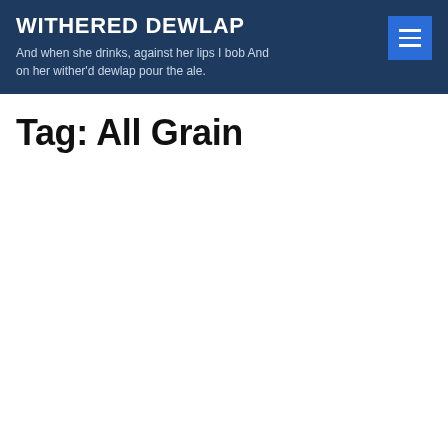WITHERED DEWLAP
And when she drinks, against her lips I bob And on her wither'd dewlap pour the ale.
Tag: All Grain